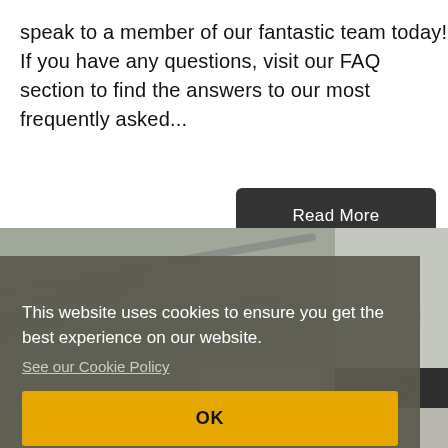speak to a member of our fantastic team today! If you have any questions, visit our FAQ section to find the answers to our most frequently asked...
Read More
[Figure (photo): Background photo showing cables or equipment, partially visible behind a cookie consent overlay]
This website uses cookies to ensure you get the best experience on our website. See our Cookie Policy
OK